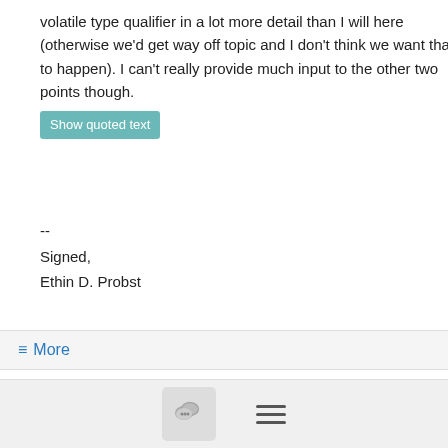volatile type qualifier in a lot more detail than I will here (otherwise we'd get way off topic and I don't think we want that to happen). I can't really provide much input to the other two points though.
Show quoted text
--
Signed,
Ethin D. Probst
≡ More
Re: MemoryFence()
Andrew Fish <afish@...>
2/04/21
On Feb 4, 2021, at 10:09 AM, Laszlo Ersek <lersek@...> wrote:
Hi All,